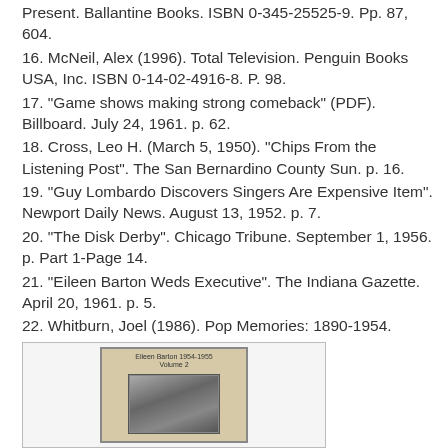Present. Ballantine Books. ISBN 0-345-25525-9. Pp. 87, 604.
16. McNeil, Alex (1996). Total Television. Penguin Books USA, Inc. ISBN 0-14-02-4916-8. P. 98.
17. "Game shows making strong comeback" (PDF). Billboard. July 24, 1961. p. 62.
18. Cross, Leo H. (March 5, 1950). "Chips From the Listening Post". The San Bernardino County Sun. p. 16.
19. "Guy Lombardo Discovers Singers Are Expensive Item". Newport Daily News. August 13, 1952. p. 7.
20. "The Disk Derby". Chicago Tribune. September 1, 1956. p. Part 1-Page 14.
21. "Eileen Barton Weds Executive". The Indiana Gazette. April 20, 1961. p. 5.
22. Whitburn, Joel (1986). Pop Memories: 1890-1954. Record Research. ISBN 0-89820-083-0.
Eileen Barton
[Figure (photo): Album cover for Eileen Barton, showing a photo of the artist with album title text at the top]